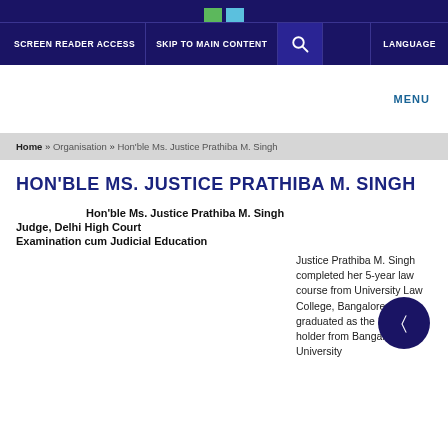SCREEN READER ACCESS | SKIP TO MAIN CONTENT | LANGUAGE | MENU
Home » Organisation » Hon'ble Ms. Justice Prathiba M. Singh
HON'BLE MS. JUSTICE PRATHIBA M. SINGH
Hon'ble Ms. Justice Prathiba M. Singh
Judge, Delhi High Court
Examination cum Judicial Education
Justice Prathiba M. Singh completed her 5-year law course from University Law College, Bangalore. She graduated as the 1st Rank holder from Bangalore University